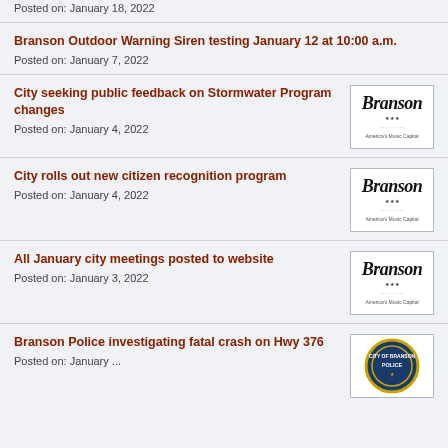Posted on: January 18, 2022
Branson Outdoor Warning Siren testing January 12 at 10:00 a.m.
Posted on: January 7, 2022
City seeking public feedback on Stormwater Program changes
Posted on: January 4, 2022
[Figure (logo): Branson city logo]
City rolls out new citizen recognition program
Posted on: January 4, 2022
[Figure (logo): Branson city logo]
All January city meetings posted to website
Posted on: January 3, 2022
[Figure (logo): Branson city logo]
Branson Police investigating fatal crash on Hwy 376
Posted on: January ...
[Figure (logo): Branson Police badge logo]